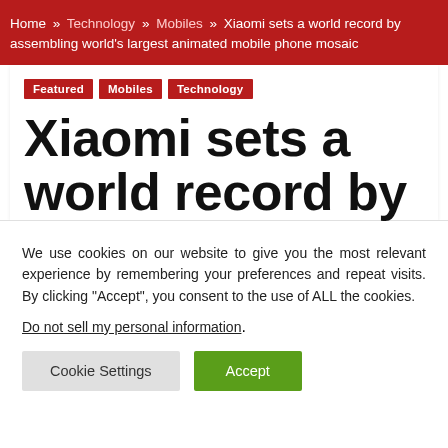Home » Technology » Mobiles » Xiaomi sets a world record by assembling world's largest animated mobile phone mosaic
Featured Mobiles Technology
Xiaomi sets a world record by
We use cookies on our website to give you the most relevant experience by remembering your preferences and repeat visits. By clicking "Accept", you consent to the use of ALL the cookies.
Do not sell my personal information.